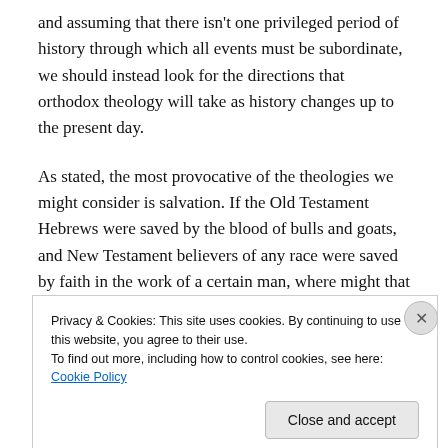and assuming that there isn't one privileged period of history through which all events must be subordinate, we should instead look for the directions that orthodox theology will take as history changes up to the present day.
As stated, the most provocative of the theologies we might consider is salvation. If the Old Testament Hebrews were saved by the blood of bulls and goats, and New Testament believers of any race were saved by faith in the work of a certain man, where might that leave modern day
Privacy & Cookies: This site uses cookies. By continuing to use this website, you agree to their use.
To find out more, including how to control cookies, see here: Cookie Policy